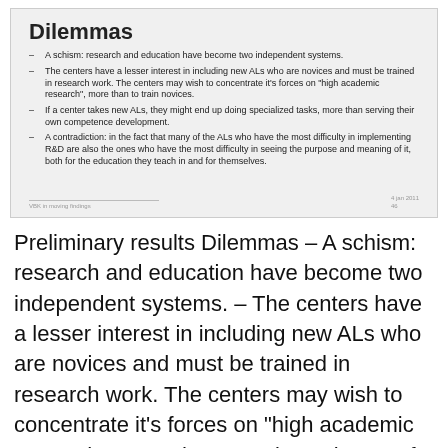Dilemmas
A schism: research and education have become two independent systems.
The centers have a lesser interest in including new ALs who are novices and must be trained in research work. The centers may wish to concentrate it's forces on "high academic research", more than to train novices.
If a center takes new ALs, they might end up doing specialized tasks, more than serving their own competence development.
A contradiction: in the fact that many of the ALs who have the most difficulty in implementing R&D are also the ones who have the most difficulty in seeing the purpose and meaning of it, both for the education they teach in and for themselves.
Preliminary results Dilemmas – A schism: research and education have become two independent systems. – The centers have a lesser interest in including new ALs who are novices and must be trained in research work. The centers may wish to concentrate it's forces on "high academic research", more than to train novices. – If a center takes new ALs, they might end up doing specialized tasks, more than serving their own competence development. – A contradiction: in the fact that many of the ALs who have the most difficulty in implementing R&D are also the ones who have the most